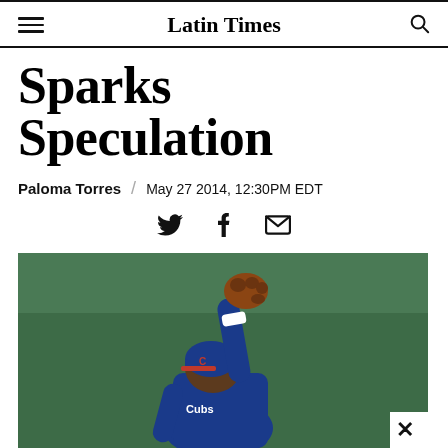Latin Times
Sparks Speculation
Paloma Torres / May 27 2014, 12:30PM EDT
[Figure (photo): Baseball player in blue Cubs uniform reaching up with gloved hand to catch a ball, green outfield wall in background]
[Figure (logo): Red X logo at bottom left corner]